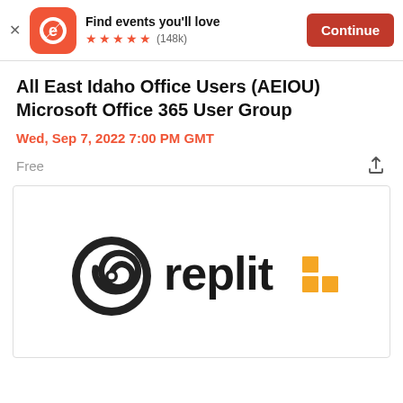Find events you'll love ★★★★★ (148k) Continue
All East Idaho Office Users (AEIOU) Microsoft Office 365 User Group
Wed, Sep 7, 2022 7:00 PM GMT
Free
[Figure (logo): Replit logo: black spiral/swirl icon on the left and 'replit' text in dark color with a yellow-orange grid of squares on the right]